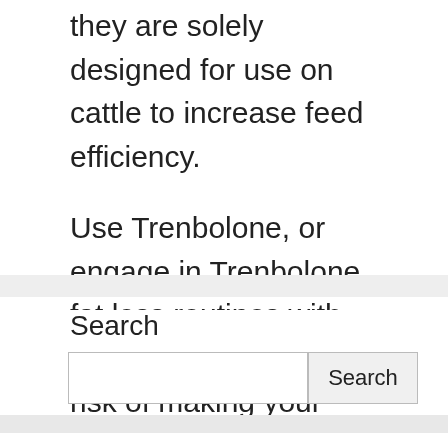they are solely designed for use on cattle to increase feed efficiency.
Use Trenbolone, or engage in Trenbolone fat loss routines with extreme caution. The risk of making your own Trenbolone from Finaplix pellets is extremely dangerous. So too is purchasing the drug from questionable underground labs.
Search
Search